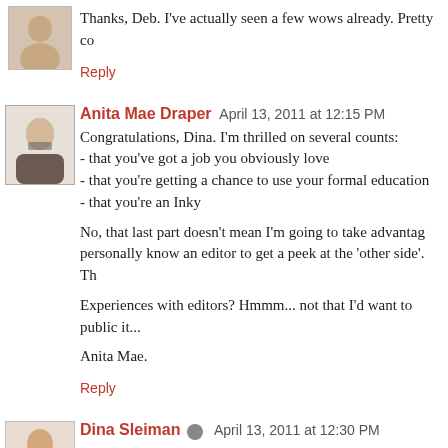Thanks, Deb. I've actually seen a few wows already. Pretty co
Reply
Anita Mae Draper  April 13, 2011 at 12:15 PM
Congratulations, Dina. I'm thrilled on several counts:
- that you've got a job you obviously love
- that you're getting a chance to use your formal education
- that you're an Inky

No, that last part doesn't mean I'm going to take advantag... personally know an editor to get a peek at the 'other side'. Th...

Experiences with editors? Hmmm... not that I'd want to public... it...

Anita Mae.
Reply
Dina Sleiman  April 13, 2011 at 12:30 PM
I guess I always thought of editors as the naysayers of the